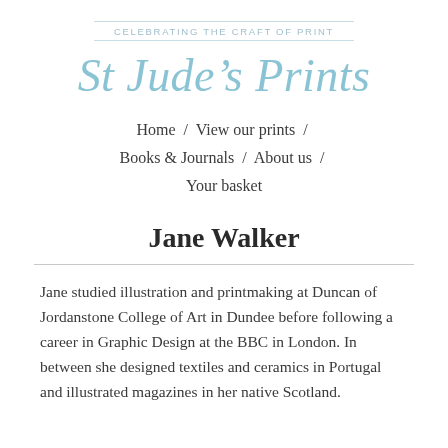CELEBRATING THE CRAFT OF PRINT
St Jude's Prints
Home / View our prints / Books & Journals / About us / Your basket
Jane Walker
Jane studied illustration and printmaking at Duncan of Jordanstone College of Art in Dundee before following a career in Graphic Design at the BBC in London. In between she designed textiles and ceramics in Portugal and illustrated magazines in her native Scotland.